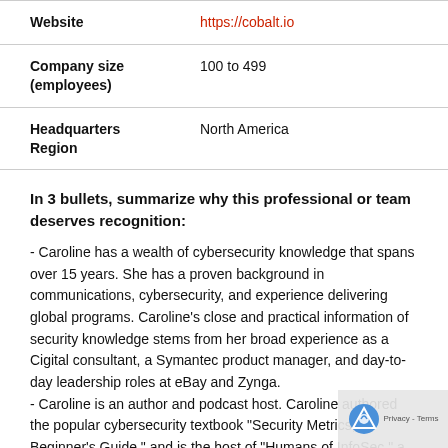| Website | https://cobalt.io |
| Company size (employees) | 100 to 499 |
| Headquarters Region | North America |
In 3 bullets, summarize why this professional or team deserves recognition:
- Caroline has a wealth of cybersecurity knowledge that spans over 15 years. She has a proven background in communications, cybersecurity, and experience delivering global programs. Caroline's close and practical information of security knowledge stems from her broad experience as a Cigital consultant, a Symantec product manager, and day-to-day leadership roles at eBay and Zynga.
- Caroline is an author and podcast host. Caroline authored the popular cybersecurity textbook "Security Metrics, A Beginner's Guide," and is the host of "Humans of InfoSec," a podcast that